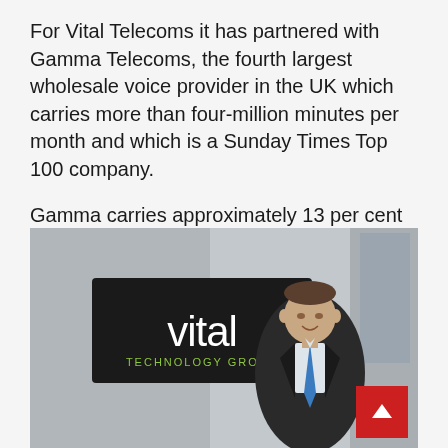For Vital Telecoms it has partnered with Gamma Telecoms, the fourth largest wholesale voice provider in the UK which carries more than four-million minutes per month and which is a Sunday Times Top 100 company.
Gamma carries approximately 13 per cent of the UK's fixed business telephony.
[Figure (photo): A man in a dark suit with a blue tie standing in front of a dark sign reading 'vital TECHNOLOGY GROUP' in white and green text, mounted on a grey wall.]